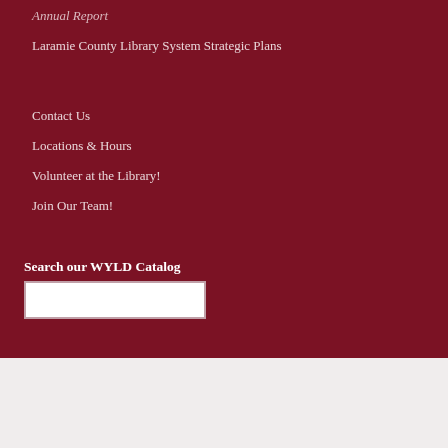Laramie County Library System Strategic Plans
Contact Us
Locations & Hours
Volunteer at the Library!
Join Our Team!
Search our WYLD Catalog
[Figure (other): Social media icons row: Facebook, Twitter, LinkedIn, YouTube, Instagram, Pinterest]
Webmaster & Social Media · Copyright & Disclaimer